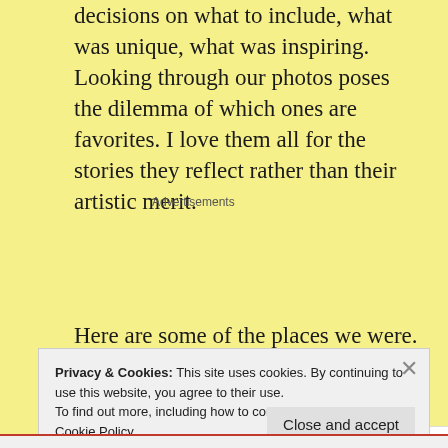decisions on what to include, what was unique, what was inspiring. Looking through our photos poses the dilemma of which ones are favorites. I love them all for the stories they reflect rather than their artistic merit.
[Figure (other): WordPress advertisement banner: 'Build a writing habit. Post on the go.' with GET THE APP button and WordPress logo]
Here are some of the places we were. Although
Privacy & Cookies: This site uses cookies. By continuing to use this website, you agree to their use.
To find out more, including how to control cookies, see here: Cookie Policy